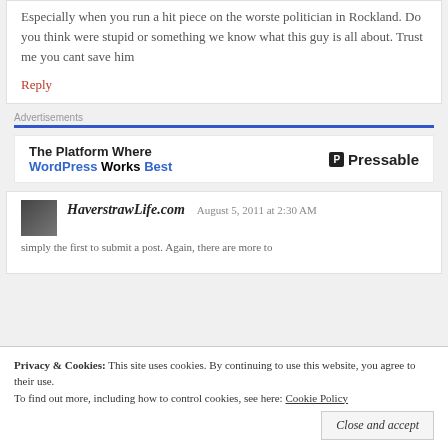Especially when you run a hit piece on the worste politician in Rockland. Do you think were stupid or something we know what this guy is all about. Trust me you cant save him
Reply
Advertisements
[Figure (infographic): Pressable advertisement: The Platform Where WordPress Works Best]
HaverstrawLife.com   August 5, 2011 at 2:30 AM
simply the first to submit a post. Again, there are more to
Privacy & Cookies: This site uses cookies. By continuing to use this website, you agree to their use. To find out more, including how to control cookies, see here: Cookie Policy
Close and accept